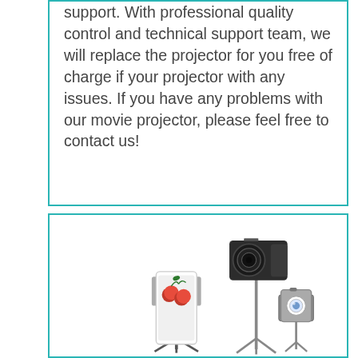support. With professional quality control and technical support team, we will replace the projector for you free of charge if your projector with any issues. If you have any problems with our movie projector, please feel free to contact us!
[Figure (photo): Product photo showing a tripod/selfie stick with multiple compatible devices: a smartphone showing cherries, a mirrorless camera, and an action camera (GoPro-style)]